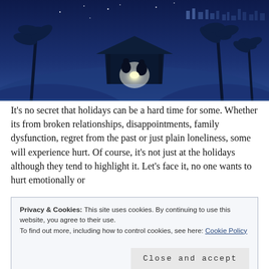[Figure (illustration): Nativity scene illustration with dark blue night sky, silhouettes of palm trees, a manger/stable with glowing light, figures of Mary, Joseph and baby Jesus, and a desert town in the background]
It's no secret that holidays can be a hard time for some. Whether its from broken relationships, disappointments, family dysfunction, regret from the past or just plain loneliness, some will experience hurt. Of course, it's not just at the holidays although they tend to highlight it. Let's face it, no one wants to hurt emotionally or
Privacy & Cookies: This site uses cookies. By continuing to use this website, you agree to their use.
To find out more, including how to control cookies, see here: Cookie Policy
Close and accept